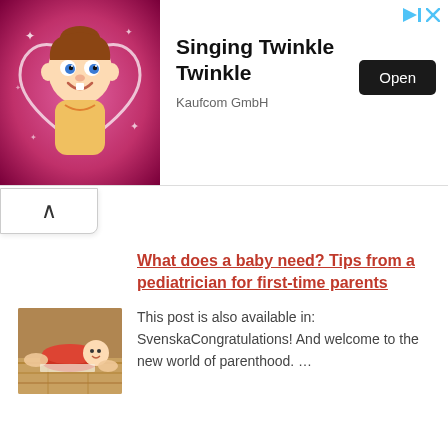[Figure (illustration): Ad banner for 'Singing Twinkle Twinkle' app by Kaufcom GmbH. Shows animated baby character against pink glowing background on the left, with app title, publisher name, and 'Open' button on the right.]
[Figure (photo): Thumbnail photo of a baby/toddler in a red outfit lying on a wooden floor with an adult's hands nearby.]
What does a baby need? Tips from a pediatrician for first-time parents
This post is also available in: SvenskaCongratulations! And welcome to the new world of parenthood. ...